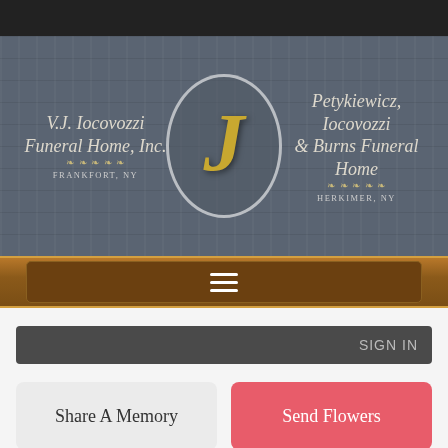[Figure (logo): Funeral home website screenshot header with logo oval containing letter J in gold, left side text V.J. Iocovozzi Funeral Home Inc. Frankfort NY, right side text Petykiewicz, Iocovozzi & Burns Funeral Home Herkimer NY]
SIGN IN
Share A Memory
Send Flowers
Plant A Tree